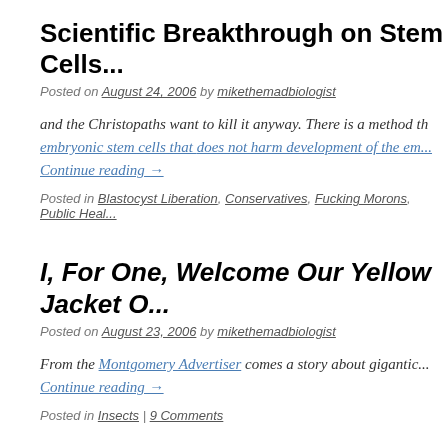Scientific Breakthrough on Stem Cells...
Posted on August 24, 2006 by mikethemadbiologist
and the Christopaths want to kill it anyway. There is a method that extracts embryonic stem cells that does not harm development of the em...
Continue reading →
Posted in Blastocyst Liberation, Conservatives, Fucking Morons, Public Heal...
I, For One, Welcome Our Yellow Jacket O...
Posted on August 23, 2006 by mikethemadbiologist
From the Montgomery Advertiser comes a story about gigantic...
Continue reading →
Posted in Insects | 9 Comments
Watch Out For Those Deft Reviewing Elit...